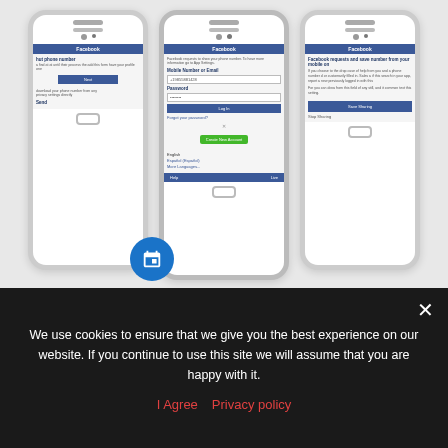[Figure (screenshot): Three Android smartphone mockups showing Facebook login and settings screens related to phone number sharing]
You don't have to share your phone ...
06/12/2019
We use cookies to ensure that we give you the best experience on our website. If you continue to use this site we will assume that you are happy with it.
I Agree  Privacy policy